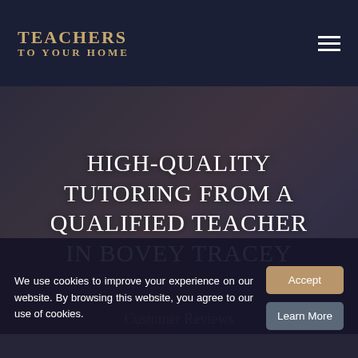TEACHERS TO YOUR HOME
HIGH-QUALITY TUTORING FROM A QUALIFIED TEACHER IN BOVEY TRACEY
We use cookies to improve your experience on our website. By browsing this website, you agree to our use of cookies.
Customer Reviews